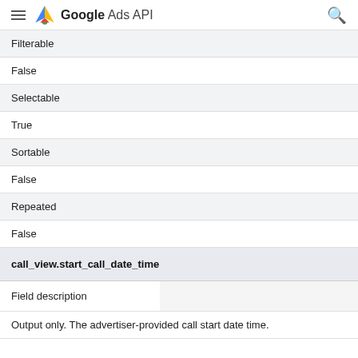Google Ads API
| Filterable |  |
| False |  |
| Selectable |  |
| True |  |
| Sortable |  |
| False |  |
| Repeated |  |
| False |  |
call_view.start_call_date_time
| Field description |  |
| --- | --- |
| Output only. The advertiser-provided call start date time. |  |